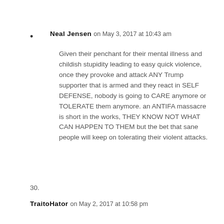Neal Jensen on May 3, 2017 at 10:43 am
Given their penchant for their mental illness and childish stupidity leading to easy quick violence, once they provoke and attack ANY Trump supporter that is armed and they react in SELF DEFENSE, nobody is going to CARE anymore or TOLERATE them anymore. an ANTIFA massacre is short in the works, THEY KNOW NOT WHAT CAN HAPPEN TO THEM but the bet that sane people will keep on tolerating their violent attacks.
30.
TraitoHator on May 2, 2017 at 10:58 pm